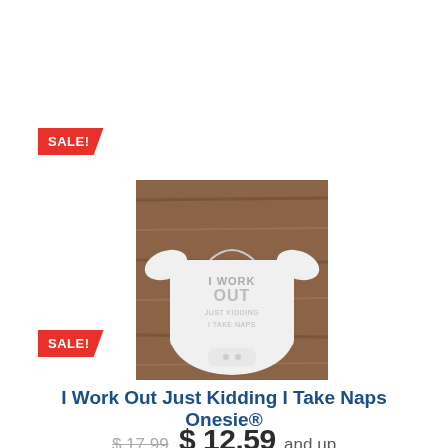[Figure (photo): Red SALE! ribbon badge in upper left corner]
[Figure (photo): White baby onesie with text 'I WORK OUT JUST KIDDING I TAKE NAPS' printed on it, laid flat on a wooden surface]
I Work Out Just Kidding I Take Naps Onesie®
$17.99  $12.59 and up
[Figure (photo): Red SALE! ribbon badge in lower left corner]